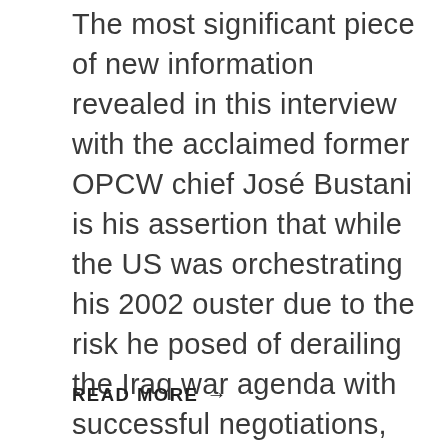The most significant piece of new information revealed in this interview with the acclaimed former OPCW chief José Bustani is his assertion that while the US was orchestrating his 2002 ouster due to the risk he posed of derailing the Iraq war agenda with successful negotiations, his office was packed with hidden surveillance equipment and that his American head of security vanished immediately after this was discovered.
READ MORE →